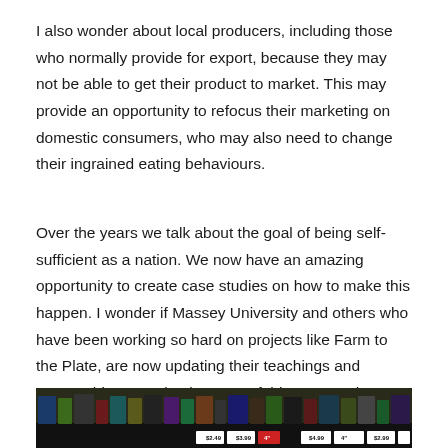I also wonder about local producers, including those who normally provide for export, because they may not be able to get their product to market. This may provide an opportunity to refocus their marketing on domestic consumers, who may also need to change their ingrained eating behaviours.
Over the years we talk about the goal of being self-sufficient as a nation. We now have an amazing opportunity to create case studies on how to make this happen. I wonder if Massey University and others who have been working so hard on projects like Farm to the Plate, are now updating their teachings and partnerships to make the most of this opportunity.
[Figure (photo): A supermarket shelf with various products and price tags visible. The image shows shelves stocked with items and digital/paper price labels along the front edge.]